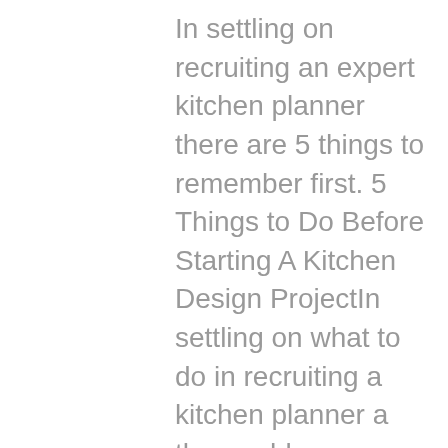In settling on recruiting an expert kitchen planner there are 5 things to remember first. 5 Things to Do Before Starting A Kitchen Design ProjectIn settling on what to do in recruiting a kitchen planner a thoroughly examined plan is important for any kitchen configuration venture to be effective.A decent kitchen planner ought to have the option to work with you to make the plan that will both fit your cravings and needs and that squares with your financial plan. 1. The amount Are You Willing To Spend? Level with the fashioner exactly the amount you will actually want to spend on your kitchen configuration project.Tell the kitchen designer exactly what you would feel happy with spending. This